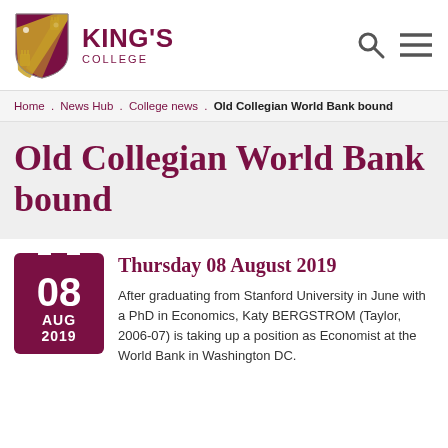[Figure (logo): King's College shield logo with heraldic design in maroon and gold]
KING'S COLLEGE
Home . News Hub . College news . Old Collegian World Bank bound
Old Collegian World Bank bound
[Figure (illustration): Calendar icon showing 08 AUG 2019 in maroon]
Thursday 08 August 2019
After graduating from Stanford University in June with a PhD in Economics, Katy BERGSTROM (Taylor, 2006-07) is taking up a position as Economist at the World Bank in Washington DC.